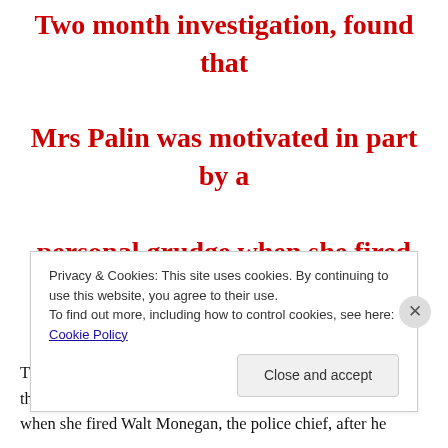Two month investigation, found that Mrs Palin was motivated in part by a personal grudge when she fired Walt Monegan, the police chief
The report, released after a two month investigation, found that Mrs Palin was motivated in part by a personal grudge when she fired Walt Monegan, the police chief, after he
Privacy & Cookies: This site uses cookies. By continuing to use this website, you agree to their use. To find out more, including how to control cookies, see here: Cookie Policy